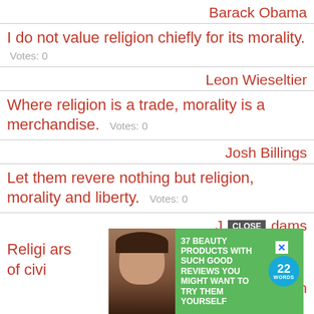Barack Obama
I do not value religion chiefly for its morality.
Votes: 0
Leon Wieseltier
Where religion is a trade, morality is a merchandise.  Votes: 0
Josh Billings
Let them revere nothing but religion, morality and liberty.  Votes: 0
J [CLOSE] dams
[Figure (screenshot): Advertisement overlay: green background with text '37 BEAUTY PRODUCTS WITH SUCH GOOD REVIEWS YOU MIGHT WANT TO TRY THEM YOURSELF' and a '22 WORDS' badge. Has a CLOSE button and X dismiss button. A woman's face partially visible on the left.]
Religi... ars of civi...
ngton